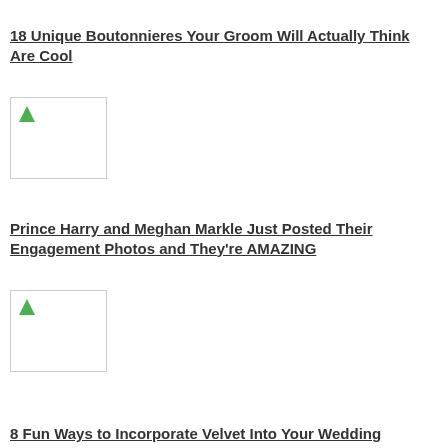18 Unique Boutonnieres Your Groom Will Actually Think Are Cool
[Figure (photo): Thumbnail image placeholder for boutonniere article]
Prince Harry and Meghan Markle Just Posted Their Engagement Photos and They're AMAZING
[Figure (photo): Thumbnail image placeholder for Prince Harry and Meghan Markle engagement article]
8 Fun Ways to Incorporate Velvet Into Your Wedding